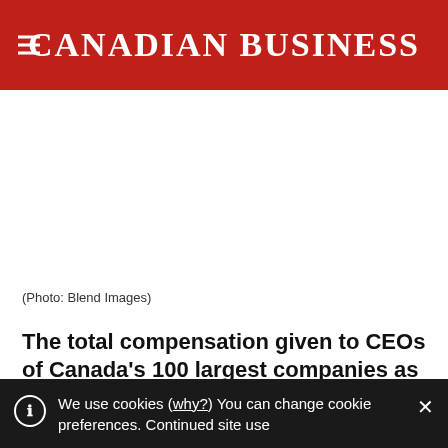CANADIAN BUSINESS
[Figure (photo): Large photo area (blank/white in this view) representing an editorial image for the article about CEO compensation]
(Photo: Blend Images)
The total compensation given to CEOs of Canada's 100 largest companies as shown on the current issue of Canadian Business was $4,847,024,301 in the d...
We use cookies (why?) You can change cookie preferences. Continued site use